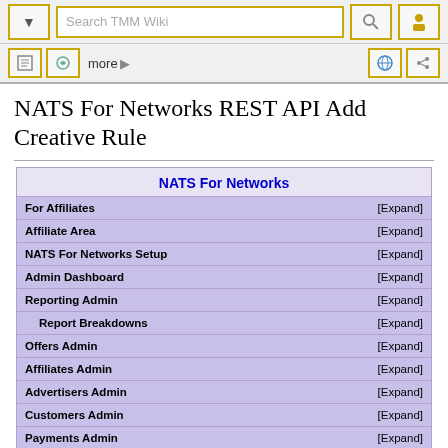Search TMM Wiki
NATS For Networks REST API Add Creative Rule
| Section | Action |
| --- | --- |
| NATS For Networks |  |
| For Affiliates | [Expand] |
| Affiliate Area | [Expand] |
| NATS For Networks Setup | [Expand] |
| Admin Dashboard | [Expand] |
| Reporting Admin | [Expand] |
| Report Breakdowns | [Expand] |
| Offers Admin | [Expand] |
| Affiliates Admin | [Expand] |
| Advertisers Admin | [Expand] |
| Customers Admin | [Expand] |
| Payments Admin | [Expand] |
| Payment Methods | [Expand] |
| REST API | [Collapse] |